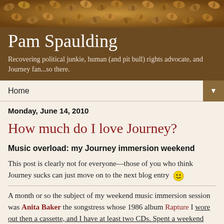[Figure (photo): Coffee beans pattern used as decorative header background]
Pam Spaulding
Recovering political junkie, human (and pit bull) rights advocate, and Journey fan...so there.
Home ▼
Monday, June 14, 2010
How much do I love Journey?
Music overload: my Journey immersion weekend
This post is clearly not for everyone—those of you who think Journey sucks can just move on to the next blog entry 🙂
A month or so the subject of my weekend music immersion session was Anita Baker the songstress whose 1986 album Rapture I wore out then a cassette, and I have at least two CDs. Spent a weekend...